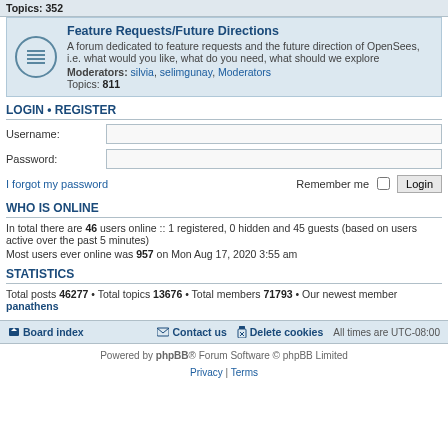Topics: 352
Feature Requests/Future Directions
A forum dedicated to feature requests and the future direction of OpenSees, i.e. what would you like, what do you need, what should we explore
Moderators: silvia, selimgunay, Moderators
Topics: 811
LOGIN • REGISTER
Username:
Password:
I forgot my password
Remember me  Login
WHO IS ONLINE
In total there are 46 users online :: 1 registered, 0 hidden and 45 guests (based on users active over the past 5 minutes)
Most users ever online was 957 on Mon Aug 17, 2020 3:55 am
STATISTICS
Total posts 46277 • Total topics 13676 • Total members 71793 • Our newest member panathens
Board index  Contact us  Delete cookies  All times are UTC-08:00
Powered by phpBB® Forum Software © phpBB Limited
Privacy | Terms